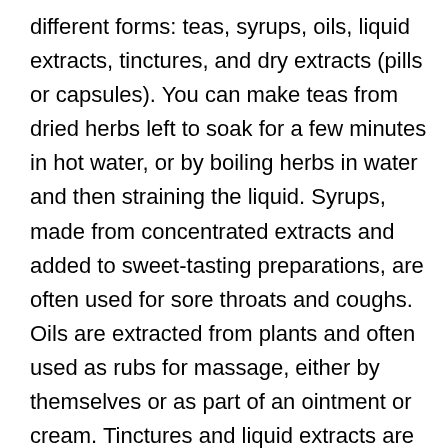different forms: teas, syrups, oils, liquid extracts, tinctures, and dry extracts (pills or capsules). You can make teas from dried herbs left to soak for a few minutes in hot water, or by boiling herbs in water and then straining the liquid. Syrups, made from concentrated extracts and added to sweet-tasting preparations, are often used for sore throats and coughs. Oils are extracted from plants and often used as rubs for massage, either by themselves or as part of an ointment or cream. Tinctures and liquid extracts are made of active herbal ingredients dissolved in a liquid (usually water, alcohol, or glycerol). Tinctures are typically a 1:5 or 1:10 concentration, meaning that one part of the herb is prepared with 5 to 10 parts (by weight) of the liquid. Liquid extracts are more concentrated than tinctures and are typically a 1:1 concentration. A dry extract form is the most concentrated form of an herbal product (typically 2:1 to 8:1) and is sold